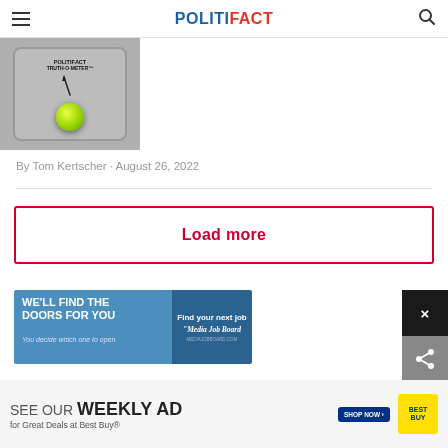POLITIFACT
[Figure (photo): PolitiFact Truth-O-Meter gauge with green light/ball indicator]
By Tom Kertscher · August 26, 2022
Load more
[Figure (screenshot): Advertisement: WE'LL FIND THE DOORS FOR YOU / You decide which one to open / Find your next job / Media Job Board]
[Figure (screenshot): Advertisement: SEE OUR WEEKLY AD for Great Deals at Best Buy® SHOP NOW / Best Buy logo]